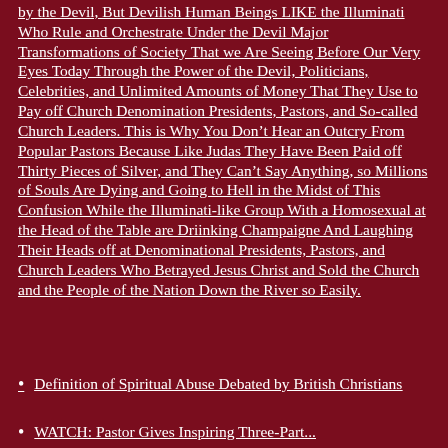by the Devil, But Devilish Human Beings LIKE the Illuminati Who Rule and Orchestrate Under the Devil Major Transformations of Society That we Are Seeing Before Our Very Eyes Today Through the Power of the Devil, Politicians, Celebrities, and Unlimited Amounts of Money That They Use to Pay off Church Denomination Presidents, Pastors, and So-called Church Leaders. This is Why You Don't Hear an Outcry From Popular Pastors Because Like Judas They Have Been Paid off Thirty Pieces of Silver, and They Can't Say Anything, so Millions of Souls Are Dying and Going to Hell in the Midst of This Confusion While the Illuminati-like Group With a Homosexual at the Head of the Table are Driinking Champaigne And Laughing Their Heads off at Denominational Presidents, Pastors, and Church Leaders Who Betrayed Jesus Christ and Sold the Church and the People of the Nation Down the River so Easily.
Definition of Spiritual Abuse Debated by British Christians
WATCH: Pastor Gives Inspiring Three-Part...